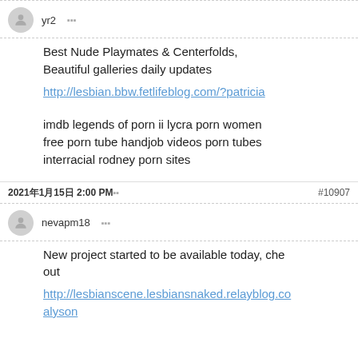yr2
Best Nude Playmates & Centerfolds, Beautiful galleries daily updates
http://lesbian.bbw.fetlifeblog.com/?patricia
imdb legends of porn ii lycra porn women free porn tube handjob videos porn tubes interracial rodney porn sites
2021年1月15日 2:00 PM   #10907
nevapm18
New project started to be available today, check out
http://lesbianscene.lesbiansnaked.relayblog.com/?alyson